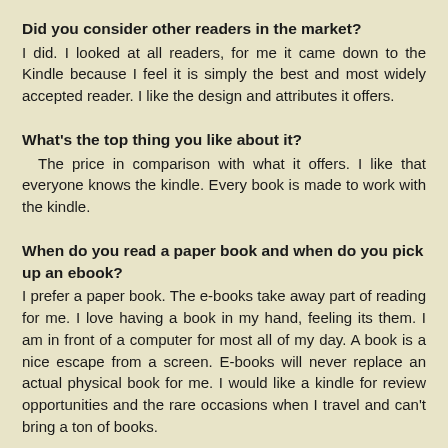Did you consider other readers in the market?
I did. I looked at all readers, for me it came down to the Kindle because I feel it is simply the best and most widely accepted reader. I like the design and attributes it offers.
What's the top thing you like about it?
The price in comparison with what it offers. I like that everyone knows the kindle. Every book is made to work with the kindle.
When do you read a paper book and when do you pick up an ebook?
I prefer a paper book. The e-books take away part of reading for me. I love having a book in my hand, feeling its them. I am in front of a computer for most all of my day. A book is a nice escape from a screen. E-books will never replace an actual physical book for me. I would like a kindle for review opportunities and the rare occasions when I travel and can't bring a ton of books.